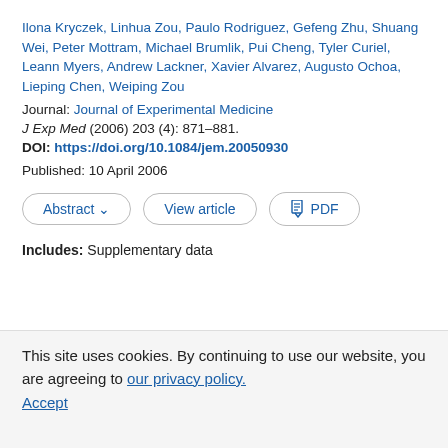Ilona Kryczek, Linhua Zou, Paulo Rodriguez, Gefeng Zhu, Shuang Wei, Peter Mottram, Michael Brumlik, Pui Cheng, Tyler Curiel, Leann Myers, Andrew Lackner, Xavier Alvarez, Augusto Ochoa, Lieping Chen, Weiping Zou
Journal: Journal of Experimental Medicine
J Exp Med (2006) 203 (4): 871–881.
DOI: https://doi.org/10.1084/jem.20050930
Published: 10 April 2006
Abstract ∨   View article   PDF
Includes: Supplementary data
This site uses cookies. By continuing to use our website, you are agreeing to our privacy policy. Accept